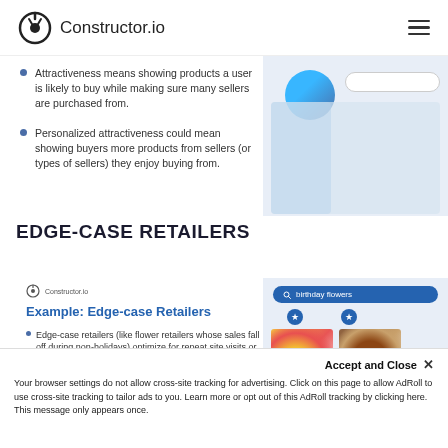Constructor.io
Attractiveness means showing products a user is likely to buy while making sure many sellers are purchased from.
Personalized attractiveness could mean showing buyers more products from sellers (or types of sellers) they enjoy buying from.
[Figure (screenshot): App/website screenshot showing a user interface with avatar, search bar, and content panels]
EDGE-CASE RETAILERS
[Figure (screenshot): Slide card showing Constructor.io logo, title 'Example: Edge-case Retailers', and bullet points about edge-case retailers]
Edge-case retailers (like flower retailers whose sales fall off during non-holidays) optimize for repeat site visits or cross-site visits
[Figure (screenshot): Constructor.io search interface showing 'birthday flowers' search with flower product results]
Accept and Close ✕
Your browser settings do not allow cross-site tracking for advertising. Click on this page to allow AdRoll to use cross-site tracking to tailor ads to you. Learn more or opt out of this AdRoll tracking by clicking here. This message only appears once.